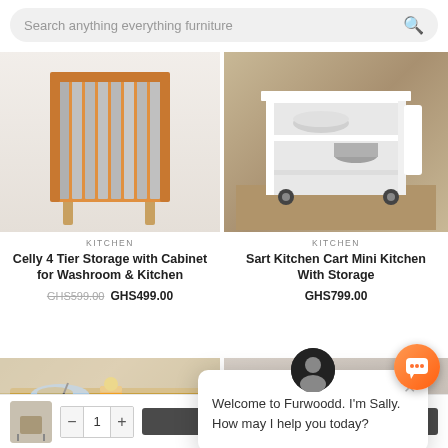[Figure (screenshot): Search bar with placeholder text 'Search anything everything furniture' and a magnifying glass icon]
[Figure (photo): Celly 4 Tier Storage cabinet with wooden orange frame and grey slat panels]
KITCHEN
Celly 4 Tier Storage with Cabinet for Washroom & Kitchen
GHS599.00  GHS499.00
[Figure (photo): Sart Kitchen Cart Mini with white frame on wheels, bowls on shelves]
KITCHEN
Sart Kitchen Cart Mini Kitchen With Storage
GHS799.00
[Figure (photo): Breakfast tray with cereal bowl, orange juice, croissant, and coffee mug]
[Figure (photo): Close up of kitchen items with mug and red object]
[Figure (screenshot): Chat popup with avatar, close button, and text: Welcome to Furwoodd. I'm Sally. How may I help you today?]
Welcome to Furwoodd. I'm Sally. How may I help you today?
[Figure (screenshot): Bottom add to cart bar with thumbnail, quantity selector showing 1, and ADD TO CART button]
[Figure (screenshot): Orange chat bubble button in bottom right corner]